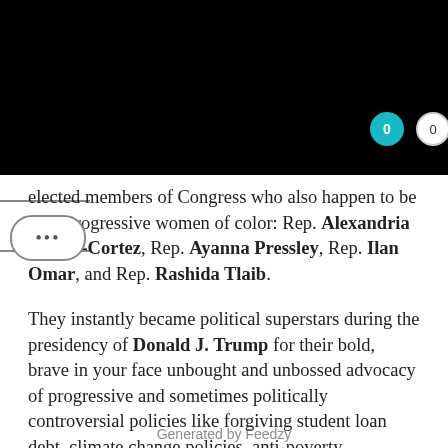[Figure (other): Black header bar with teal and white circle buttons (0 counts)]
elected members of Congress who also happen to be very progressive women of color: Rep. Alexandria Ocasio-Cortez, Rep. Ayanna Pressley, Rep. Ilan Omar, and Rep. Rashida Tlaib.
They instantly became political superstars during the presidency of Donald J. Trump for their bold, brave in your face unbought and unbossed advocacy of progressive and sometimes politically controversial policies like forgiving student loan debt, climate change policies, anti-poverty programs, and more.
Enter freshman Congresswoman Cori Bush who was once an unhoused single-mom turned activist in Missouri. She came to national prominence amid the Black Lives Matter protests in response to the 2014 fatal police shooting of Michael Brown
Generated by Feedzy